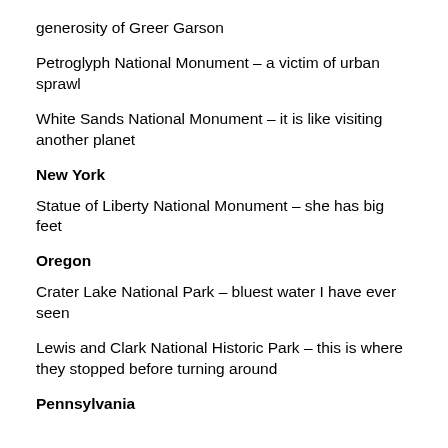generosity of Greer Garson
Petroglyph National Monument – a victim of urban sprawl
White Sands National Monument – it is like visiting another planet
New York
Statue of Liberty National Monument – she has big feet
Oregon
Crater Lake National Park – bluest water I have ever seen
Lewis and Clark National Historic Park – this is where they stopped before turning around
Pennsylvania